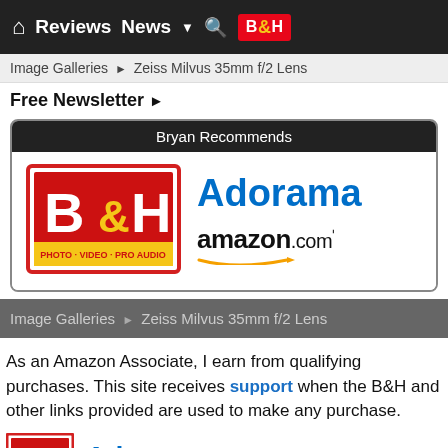⌂  Reviews  News  ▼  🔍  B&H
Image Galleries ▶ Zeiss Milvus 35mm f/2 Lens
Free Newsletter ▶
[Figure (infographic): Bryan Recommends panel with B&H Photo Video Pro Audio logo on left, Adorama and amazon.com logos on right]
Image Galleries ▶ Zeiss Milvus 35mm f/2 Lens
As an Amazon Associate, I earn from qualifying purchases. This site receives support when the B&H and other links provided are used to make any purchase.
[Figure (logo): Partial view of B&H logo, Adorama text, and amazon.com text at bottom of page]